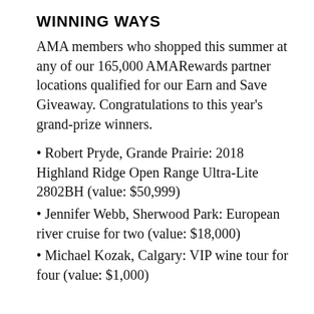WINNING WAYS
AMA members who shopped this summer at any of our 165,000 AMARewards partner locations qualified for our Earn and Save Giveaway. Congratulations to this year’s grand-prize winners.
Robert Pryde, Grande Prairie: 2018 Highland Ridge Open Range Ultra-Lite 2802BH (value: $50,999)
Jennifer Webb, Sherwood Park: European river cruise for two (value: $18,000)
Michael Kozak, Calgary: VIP wine tour for four (value: $1,000)